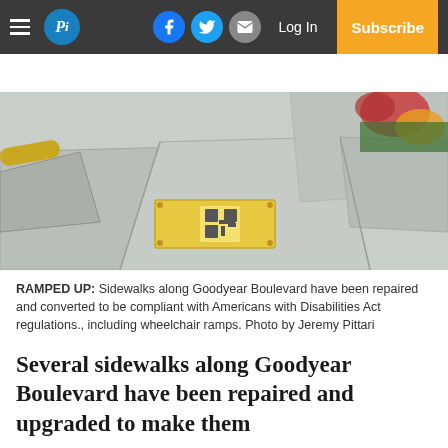Pi — Log In — Subscribe
[Figure (photo): Sidewalk with concrete slabs and a yellow tactile warning pad with a QR code sticker on it. Visible are multiple concrete sidewalk panels meeting at a corner ramp, with red and yellow flowering shrubs visible in the upper right corner.]
RAMPED UP: Sidewalks along Goodyear Boulevard have been repaired and converted to be compliant with Americans with Disabilities Act regulations., including wheelchair ramps. Photo by Jeremy Pittari
Several sidewalks along Goodyear Boulevard have been repaired and upgraded to make them